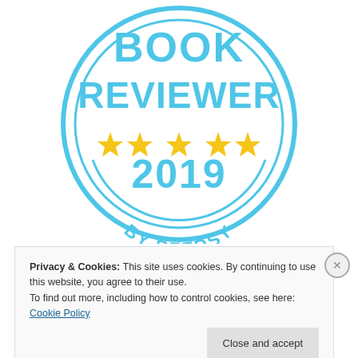[Figure (logo): Reedsy 5-star Book Reviewer 2019 badge — circular badge in light blue with text BOOK REVIEWER, five gold stars, year 2019, and BY REEDSY in curved text along the bottom arc]
Privacy & Cookies: This site uses cookies. By continuing to use this website, you agree to their use.
To find out more, including how to control cookies, see here: Cookie Policy
Close and accept